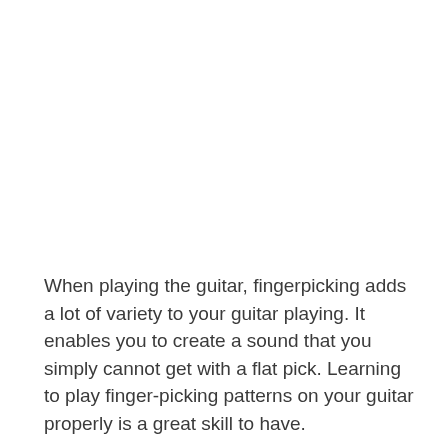When playing the guitar, fingerpicking adds a lot of variety to your guitar playing. It enables you to create a sound that you simply cannot get with a flat pick. Learning to play finger-picking patterns on your guitar properly is a great skill to have.